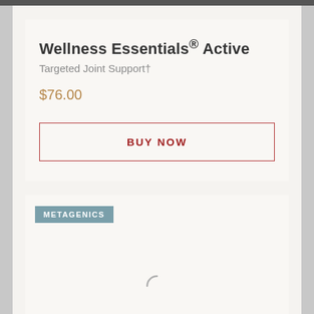Wellness Essentials® Active
Targeted Joint Support†
$76.00
BUY NOW
METAGENICS